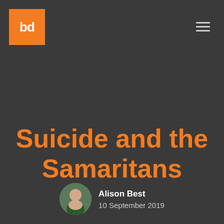[Figure (logo): Orange square logo with white 'bd' letters]
Suicide and the Samaritans
Alison Best
10 September 2019